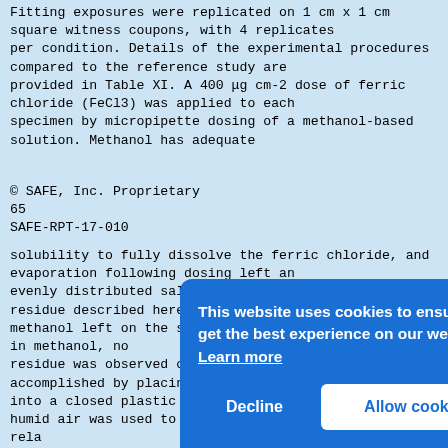Fitting exposures were replicated on 1 cm x 1 cm square witness coupons, with 4 replicates per condition. Details of the experimental procedures compared to the reference study are provided in Table XI. A 400 μg cm-2 dose of ferric chloride (FeCl3) was applied to each specimen by micropipette dosing of a methanol-based solution. Methanol has adequate
© SAFE, Inc. Proprietary
65
SAFE-RPT-17-010
solubility to fully dissolve the ferric chloride, and evaporation following dosing left an evenly distributed salt with no residue. Potential residue described here refers to undissolved salts in methanol left on the surface. Since FeCl3 dissolves in methanol, no residue was observed on the surface. Exposure was accomplished by placing the specimens into a closed plastic container where in-flow of humid air was used to maintain 97% rela... expo... laye... Cont... cond... cons... flow... from... test... soak... removed when surface dust, then alternatively cleaned in acetone then isopropanol.
[Figure (screenshot): Cookie consent banner overlay with blue background reading 'This website uses cookies to ensure you get the best experience on our website. Learn more' with Decline and Allow cookies buttons.]